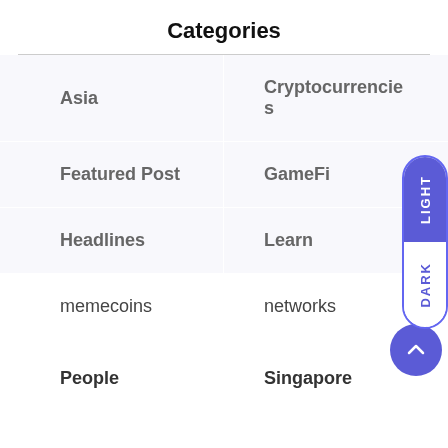Categories
| Asia | Cryptocurrencies |
| Featured Post | GameFi |
| Headlines | Learn |
| memecoins | networks |
| People | Singapore |